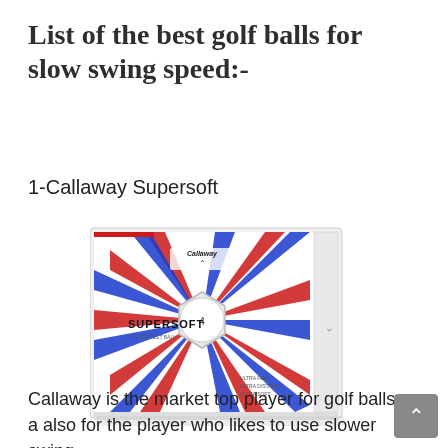List of the best golf balls for slow swing speed:-
1-Callaway Supersoft
[Figure (photo): Box of Callaway Supersoft golf balls with white packaging featuring red and blue starburst stripe design and a golf ball in the center of the box face.]
Callaway is the market top player for golf balls a also for the player who likes to use slower swing